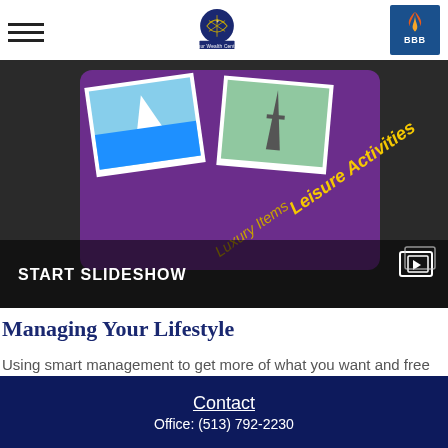Your Wealth Center — navigation header with hamburger menu and BBB badge
[Figure (photo): Hero image showing a tablet with photos of a sailboat and Eiffel Tower on a purple background labeled 'Leisure Activities' and 'Luxury Items', with 'START SLIDESHOW' button overlay]
Managing Your Lifestyle
Using smart management to get more of what you want and free up assets to invest.
Contact
Office: (513) 792-2230